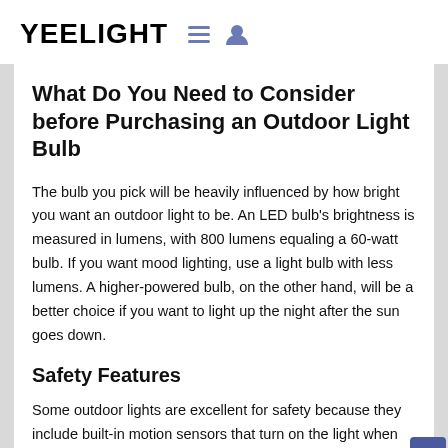YEELIGHT
What Do You Need to Consider before Purchasing an Outdoor Light Bulb
The bulb you pick will be heavily influenced by how bright you want an outdoor light to be. An LED bulb's brightness is measured in lumens, with 800 lumens equaling a 60-watt bulb. If you want mood lighting, use a light bulb with less lumens. A higher-powered bulb, on the other hand, will be a better choice if you want to light up the night after the sun goes down.
Safety Features
Some outdoor lights are excellent for safety because they include built-in motion sensors that turn on the light when an